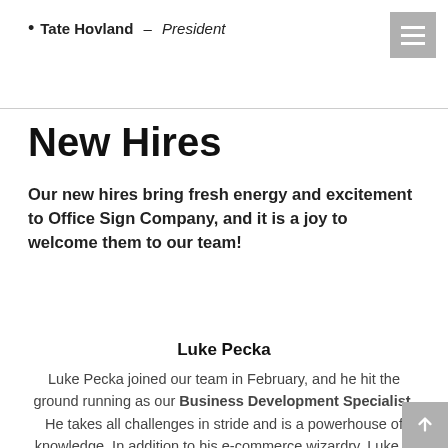Tate Hovland – President
New Hires
Our new hires bring fresh energy and excitement to Office Sign Company, and it is a joy to welcome them to our team!
Luke Pecka
Luke Pecka joined our team in February, and he hit the ground running as our Business Development Specialist. He takes all challenges in stride and is a powerhouse of knowledge. In addition to his e-commerce wizardry, Luke is also known to be the 2nd or maybe even 3rd best